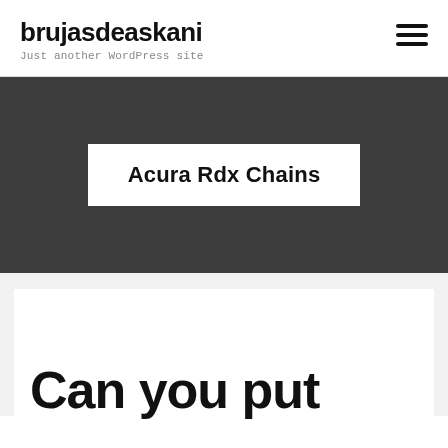brujasdeaskani
Just another WordPress site
Acura Rdx Chains
Can you put